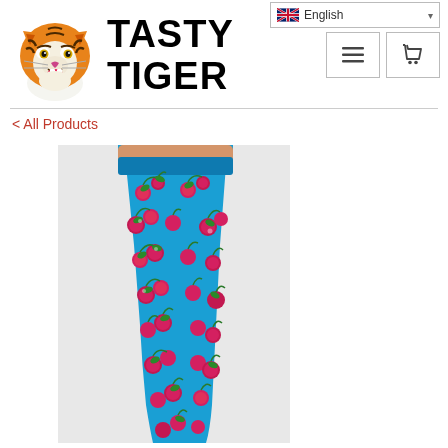English
[Figure (logo): Tasty Tiger brand logo with cartoon tiger head and bold text 'Tasty Tiger']
< All Products
[Figure (photo): Model wearing turquoise/blue leggings with red cherry pattern, cropped view showing torso and legs]